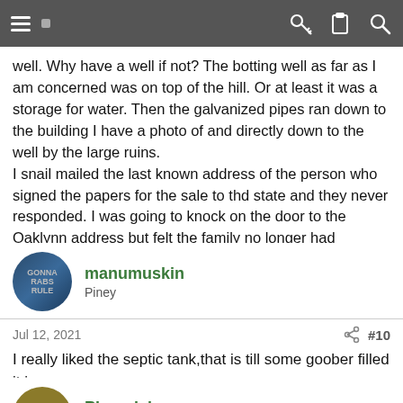Navigation bar with hamburger menu, key icon, clipboard icon, search icon
well. Why have a well if not? The botting well as far as I am concerned was on top of the hill. Or at least it was a storage for water. Then the galvanized pipes ran down to the building I have a photo of and directly down to the well by the large ruins. I snail mailed the last known address of the person who signed the papers for the sale to thd state and they never responded. I was going to knock on the door to the Oaklynn address but felt the family no longer had ownership.
manumuskin
Piney
Jul 12, 2021
#10
I really liked the septic tank,that is till some goober filled it in.
Pineyrick
New Member